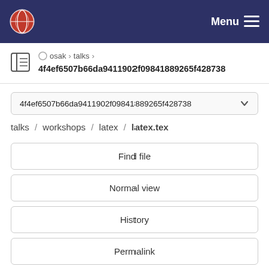Menu
osak > talks > 4f4ef6507b66da9411902f09841889265f428738
4f4ef6507b66da9411902f09841889265f428738
talks / workshops / latex / latex.tex
Find file
Normal view
History
Permalink
latex.tex  3.57 KB
Newer  Older